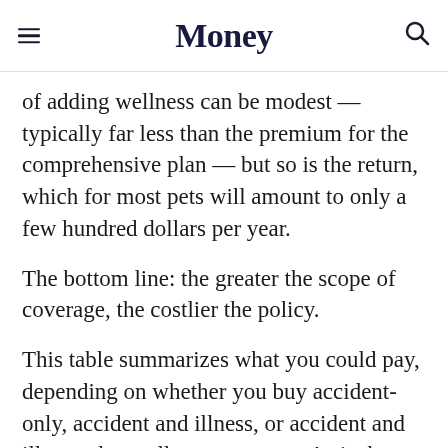Money
of adding wellness can be modest — typically far less than the premium for the comprehensive plan — but so is the return, which for most pets will amount to only a few hundred dollars per year.
The bottom line: the greater the scope of coverage, the costlier the policy.
This table summarizes what you could pay, depending on whether you buy accident-only, accident and illness, or accident and illness plus wellness coverage. As it shows,